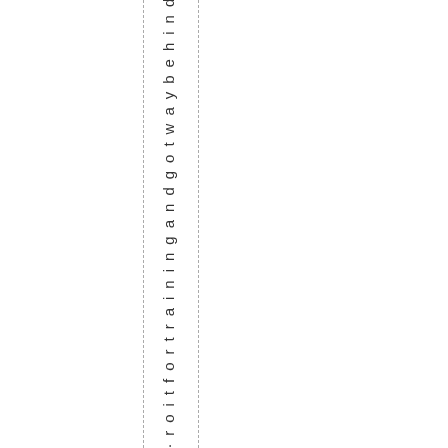roitfortrainingandgotwaybehind